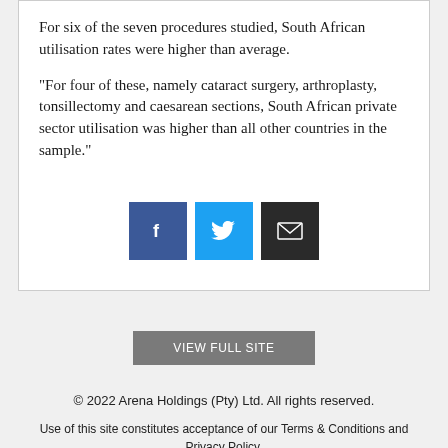For six of the seven procedures studied, South African utilisation rates were higher than average.
"For four of these, namely cataract surgery, arthroplasty, tonsillectomy and caesarean sections, South African private sector utilisation was higher than all other countries in the sample."
[Figure (other): Social sharing buttons: Facebook (blue), Twitter (light blue), Email (dark/black)]
VIEW FULL SITE
© 2022 Arena Holdings (Pty) Ltd. All rights reserved.
Use of this site constitutes acceptance of our Terms & Conditions and Privacy Policy.